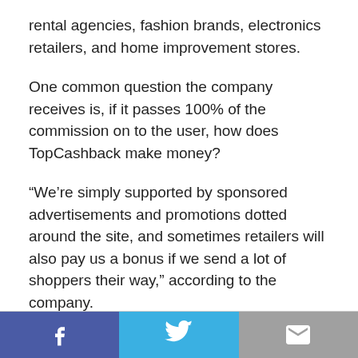rental agencies, fashion brands, electronics retailers, and home improvement stores.
One common question the company receives is, if it passes 100% of the commission on to the user, how does TopCashback make money?
“We’re simply supported by sponsored advertisements and promotions dotted around the site, and sometimes retailers will also pay us a bonus if we send a lot of shoppers their way,” according to the company.
Valuable Tips on Shopping Online and Saving Money
[Figure (infographic): Social sharing bar with three buttons: Facebook (blue/purple), Twitter (light blue), and email/envelope (gray)]